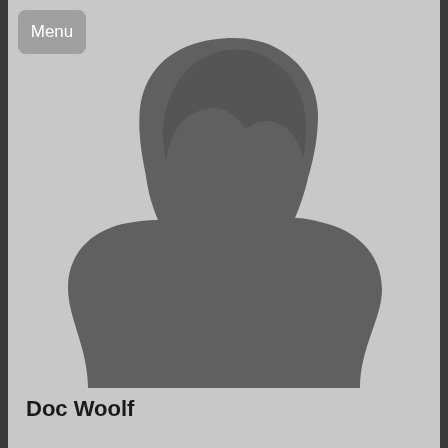Menu
[Figure (illustration): Generic placeholder silhouette of a person (head and shoulders) in dark gray against a light gray background]
Doc Woolf